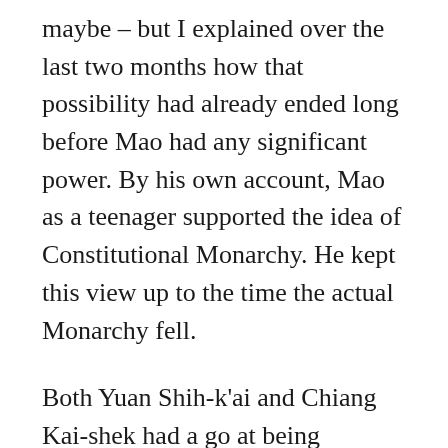maybe – but I explained over the last two months how that possibility had already ended long before Mao had any significant power. By his own account, Mao as a teenager supported the idea of Constitutional Monarchy. He kept this view up to the time the actual Monarchy fell.
Both Yuan Shih-k'ai and Chiang Kai-shek had a go at being charismatic leaders. Yuan was never plausible, he was the leader of China's best army when the Manchu dynasty was overthrown, but he had never defended China against its enemies, and never did. Chiang was better placed, if he had been willing to carry on